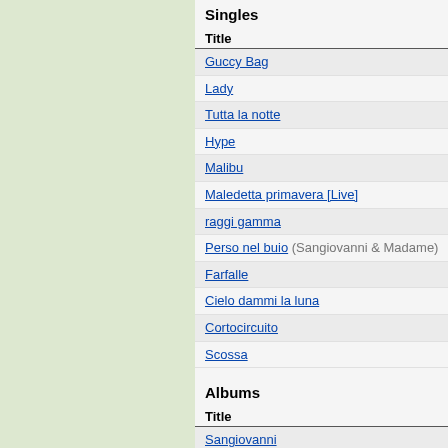Singles
| Title |
| --- |
| Guccy Bag |
| Lady |
| Tutta la notte |
| Hype |
| Malibu |
| Maledetta primavera [Live] |
| raggi gamma |
| Perso nel buio (Sangiovanni & Madame) |
| Farfalle |
| Cielo dammi la luna |
| Cortocircuito |
| Scossa |
Albums
| Title |
| --- |
| Sangiovanni |
| Cadere volare |
SONGS BY SANGIOVANNI
Amica mia
Cadere volare
Che gente siamo
Cielo dammi la luna
Cortocircuito
Duedinotte